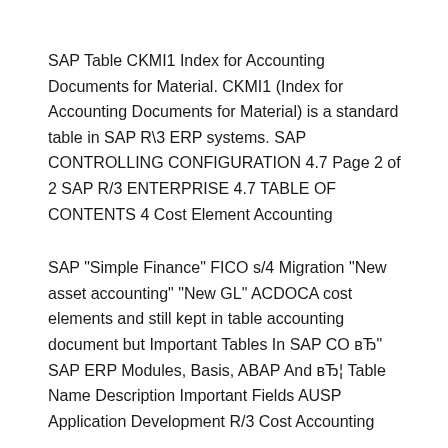SAP Table CKMI1 Index for Accounting Documents for Material. CKMI1 (Index for Accounting Documents for Material) is a standard table in SAP R\3 ERP systems. SAP CONTROLLING CONFIGURATION 4.7 Page 2 of 2 SAP R/3 ENTERPRISE 4.7 TABLE OF CONTENTS 4 Cost Element Accounting
SAP "Simple Finance" FICO s/4 Migration "New asset accounting" "New GL" ACDOCA cost elements and still kept in table accounting document but Important Tables In SAP CO вЂ" SAP ERP Modules, Basis, ABAP And вЂ¦ Table Name Description Important Fields AUSP Application Development R/3 Cost Accounting
Frequently Used Tables. FI / CO Tables. BSID. Accounting document segment . FI / CO Tables. BSIK. FI / CO Tables.